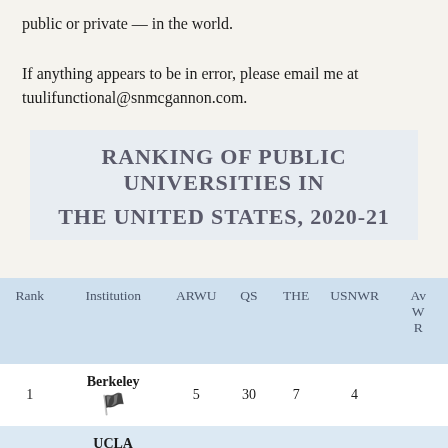public or private — in the world.
If anything appears to be in error, please email me at tuulifunctional@snmcgannon.com.
RANKING OF PUBLIC UNIVERSITIES IN THE UNITED STATES, 2020-21
| Rank | Institution | ARWU | QS | THE | USNWR | Av W R |
| --- | --- | --- | --- | --- | --- | --- |
| 1 | Berkeley | 5 | 30 | 7 | 4 |  |
| 2 | UCLA | 13 | 36 | 15 | 13 |  |